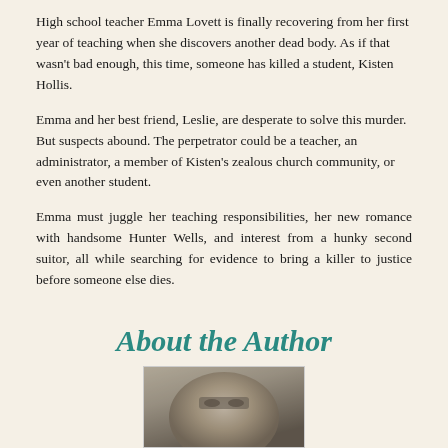High school teacher Emma Lovett is finally recovering from her first year of teaching when she discovers another dead body. As if that wasn't bad enough, this time, someone has killed a student, Kisten Hollis.
Emma and her best friend, Leslie, are desperate to solve this murder. But suspects abound. The perpetrator could be a teacher, an administrator, a member of Kisten's zealous church community, or even another student.
Emma must juggle her teaching responsibilities, her new romance with handsome Hunter Wells, and interest from a hunky second suitor, all while searching for evidence to bring a killer to justice before someone else dies.
About the Author
[Figure (photo): Close-up photo of a person's face, partially visible at the bottom of the page]